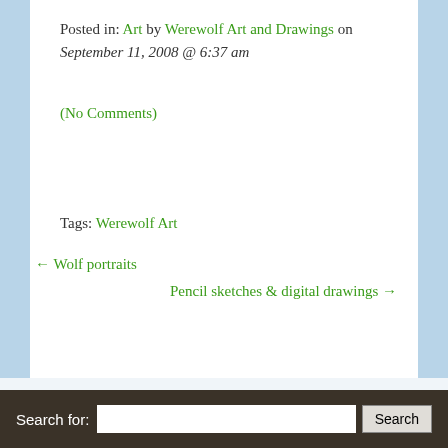Posted in: Art by Werewolf Art and Drawings on September 11, 2008 @ 6:37 am
(No Comments)
Tags: Werewolf Art
← Wolf portraits
Pencil sketches & digital drawings →
Leave a Reply
You must be logged in to post a comment.
Search for: